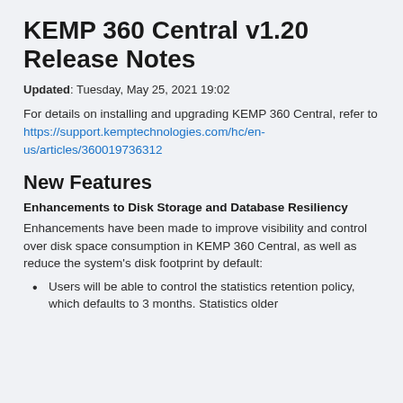KEMP 360 Central v1.20 Release Notes
Updated: Tuesday, May 25, 2021 19:02
For details on installing and upgrading KEMP 360 Central, refer to https://support.kemptechnologies.com/hc/en-us/articles/360019736312
New Features
Enhancements to Disk Storage and Database Resiliency
Enhancements have been made to improve visibility and control over disk space consumption in KEMP 360 Central, as well as reduce the system's disk footprint by default:
Users will be able to control the statistics retention policy, which defaults to 3 months. Statistics older